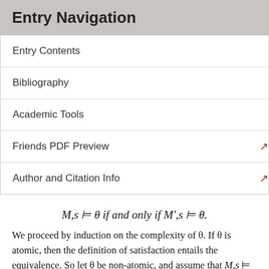Entry Navigation
Entry Contents
Bibliography
Academic Tools
Friends PDF Preview
Author and Citation Info
We proceed by induction on the complexity of θ. If θ is atomic, then the definition of satisfaction entails the equivalence. So let θ be non-atomic, and assume that M,s ⊨ ψ if and only if M′,s ⊨ ψ, for all assignments s on M′ and all formulas ψ less complex than θ. Let s be any such assignment. If the main connective of θ is the negation sign or a binary connective, then the induction hypothesis entails that